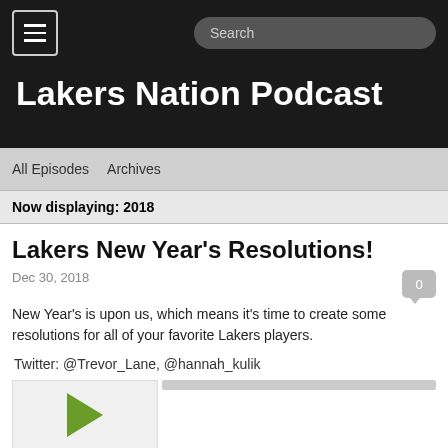Lakers Nation Podcast
All Episodes   Archives
Now displaying: 2018
Lakers New Year's Resolutions!
Dec 30, 2018
New Year's is upon us, which means it's time to create some resolutions for all of your favorite Lakers players.
Twitter: @Trevor_Lane, @hannah_kulik
[Figure (other): Podcast player with green play button and progress bar]